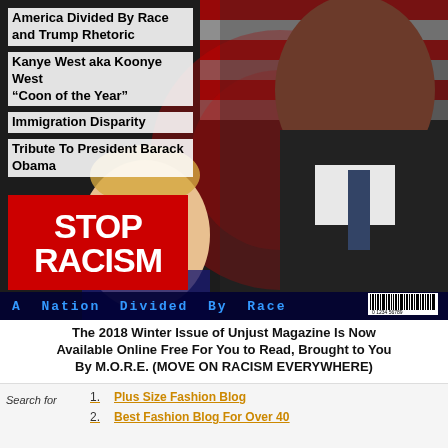[Figure (photo): Magazine cover showing figures of Barack Obama and Donald Trump with a red 'STOP RACISM' sign, American flag imagery in background, with text overlays listing article topics]
America Divided By Race and Trump Rhetoric
Kanye West aka Koonye West "Coon of the Year"
Immigration Disparity
Tribute To President Barack Obama
A Nation Divided By Race
The 2018 Winter Issue of Unjust Magazine Is Now Available Online Free For You to Read, Brought to You By M.O.R.E. (MOVE ON RACISM EVERYWHERE)
Search for
1. Plus Size Fashion Blog
2. Best Fashion Blog For Over 40